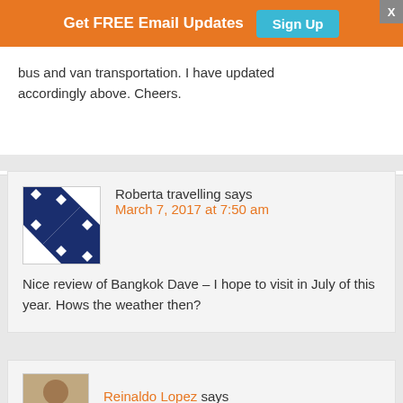[Figure (screenshot): Orange promotional banner with text 'Get FREE Email Updates' and a teal 'Sign Up' button, with a gray X close button in the top right corner.]
bus and van transportation. I have updated accordingly above. Cheers.
Roberta travelling says
March 7, 2017 at 7:50 am
Nice review of Bangkok Dave – I hope to visit in July of this year. Hows the weather then?
Reinaldo Lopez says